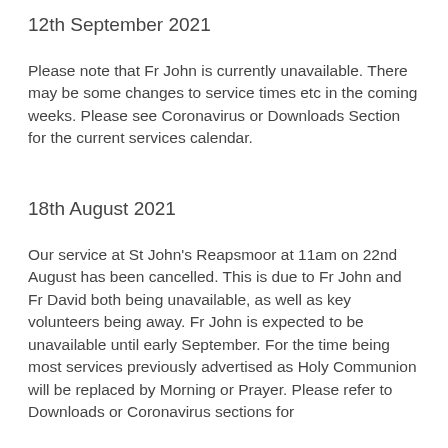12th September 2021
Please note that Fr John is currently unavailable.  There may be some changes to service times etc in the coming weeks.  Please see Coronavirus or Downloads Section for the current services calendar.
18th August 2021
Our service at St John's Reapsmoor at 11am on 22nd August has been cancelled.  This is due to Fr John and Fr David both being unavailable, as well as key volunteers being away.  Fr John is expected to be unavailable until early September.  For the time being most services previously advertised as Holy Communion will be replaced by Morning or Prayer.  Please refer to Downloads or Coronavirus sections for